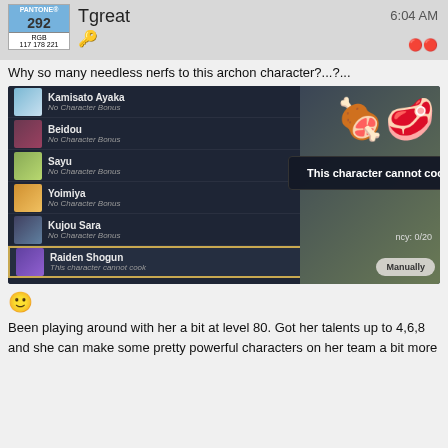[Figure (screenshot): Header bar showing Pantone 292 color swatch (RGB 117 178 221), username Tgreat with gold key icon, timestamp 6:04 AM, and red record icon]
Why so many needless nerfs to this archon character?...?...
[Figure (screenshot): Genshin Impact cooking screen showing character list: Kamisato Ayaka (No Character Bonus), Beidou (No Character Bonus), Sayu (No Character Bonus), Yoimiya (No Character Bonus), Kujou Sara (No Character Bonus), Raiden Shogun (This character cannot cook) - selected and highlighted. A tooltip reads 'This character cannot cook'. Right side shows food item and 'Manually' button. Ency: 0/20 text visible.]
😀
Been playing around with her a bit at level 80. Got her talents up to 4,6,8 and she can make some pretty powerful characters on her team a bit more